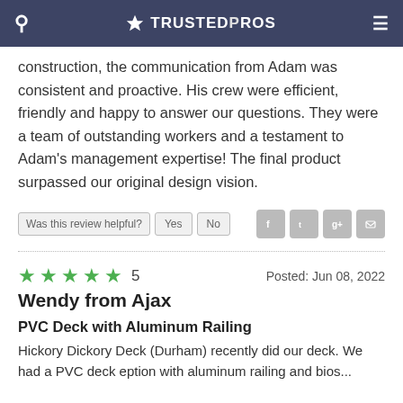TRUSTEDPROS
construction, the communication from Adam was consistent and proactive. His crew were efficient, friendly and happy to answer our questions. They were a team of outstanding workers and a testament to Adam's management expertise! The final product surpassed our original design vision.
Was this review helpful? Yes No
★★★★★ 5   Posted: Jun 08, 2022
Wendy from Ajax
PVC Deck with Aluminum Railing
Hickory Dickory Deck (Durham) recently did our deck. We had a PVC deck eption with aluminum railing and bios...